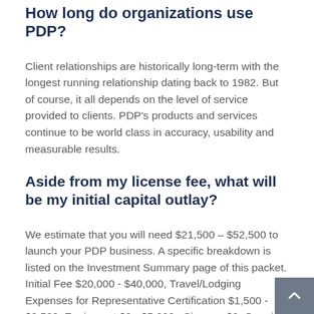How long do organizations use PDP?
Client relationships are historically long-term with the longest running relationship dating back to 1982. But of course, it all depends on the level of service provided to clients. PDP's products and services continue to be world class in accuracy, usability and measurable results.
Aside from my license fee, what will be my initial capital outlay?
We estimate that you will need $21,500 – $52,500 to launch your PDP business. A specific breakdown is listed on the Investment Summary page of this packet. Initial Fee $20,000 - $40,000, Travel/Lodging Expenses for Representative Certification $1,500 - $2,500, Equipment $0 - $5,000, Signage $0, Opening Inventory Provided in Investment